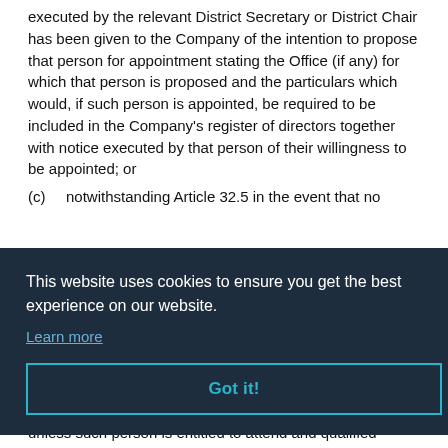executed by the relevant District Secretary or District Chair has been given to the Company of the intention to propose that person for appointment stating the Office (if any) for which that person is proposed and the particulars which would, if such person is appointed, be required to be included in the Company's register of directors together with notice executed by that person of their willingness to be appointed; or
(c)	notwithstanding Article 32.5 in the event that no ...ant ...the ...he ...to ...be
unless such person is entitled to attend and qualified